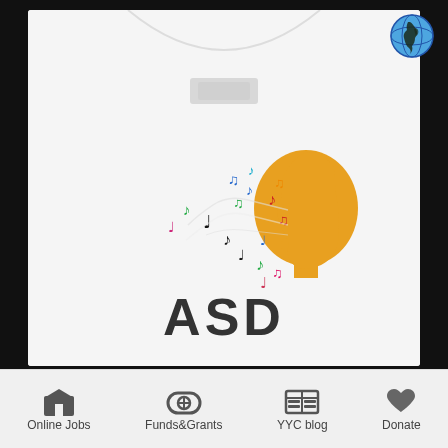[Figure (photo): White T-shirt folded at the collar area, showing an ASD (Autism Spectrum Disorder) design with an orange child head silhouette and colorful musical notes flying out of the head, with the text 'ASD' printed below in large dark letters. A globe icon appears in the top right corner.]
Online Jobs   Funds&Grants   YYC blog   Donate